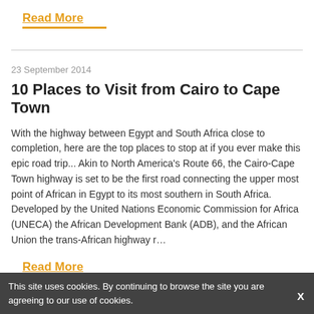Read More
23 September 2014
10 Places to Visit from Cairo to Cape Town
With the highway between Egypt and South Africa close to completion, here are the top places to stop at if you ever make this epic road trip... Akin to North America's Route 66, the Cairo-Cape Town highway is set to be the first road connecting the upper most point of African in Egypt to its most southern in South Africa. Developed by the United Nations Economic Commission for Africa (UNECA) the African Development Bank (ADB), and the African Union the trans-African highway r…
Read More
This site uses cookies. By continuing to browse the site you are agreeing to our use of cookies.